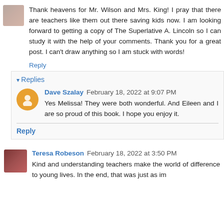Thank heavens for Mr. Wilson and Mrs. King! I pray that there are teachers like them out there saving kids now. I am looking forward to getting a copy of The Superlative A. Lincoln so I can study it with the help of your comments. Thank you for a great post. I can't draw anything so I am stuck with words!
Reply
Replies
Dave Szalay February 18, 2022 at 9:07 PM
Yes Melissa! They were both wonderful. And Eileen and I are so proud of this book. I hope you enjoy it.
Reply
Teresa Robeson February 18, 2022 at 3:50 PM
Kind and understanding teachers make the world of difference to young lives. In the end, that was just as im